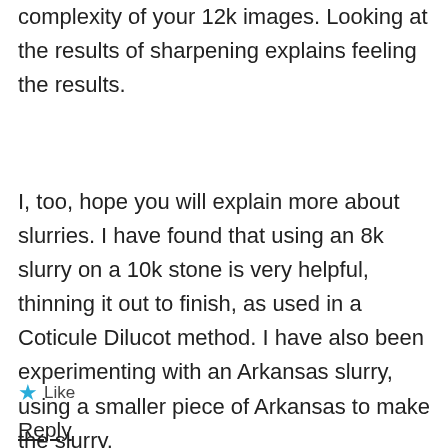complexity of your 12k images. Looking at the results of sharpening explains feeling the results.
I, too, hope you will explain more about slurries. I have found that using an 8k slurry on a 10k stone is very helpful, thinning it out to finish, as used in a Coticule Dilucot method. I have also been experimenting with an Arkansas slurry, using a smaller piece of Arkansas to make the slurry.
★ Like
Reply